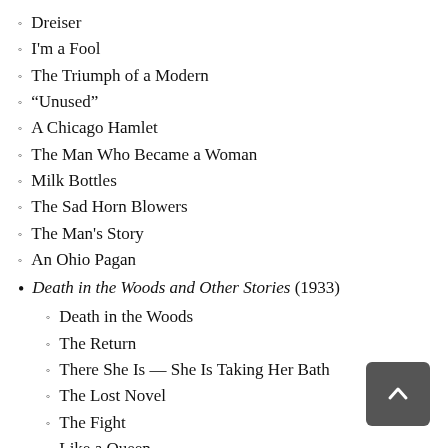Dreiser
I'm a Fool
The Triumph of a Modern
“Unused”
A Chicago Hamlet
The Man Who Became a Woman
Milk Bottles
The Sad Horn Blowers
The Man's Story
An Ohio Pagan
Death in the Woods and Other Stories (1933)
Death in the Woods
The Return
There She Is — She Is Taking Her Bath
The Lost Novel
The Fight
Like a Queen
That Sophistication